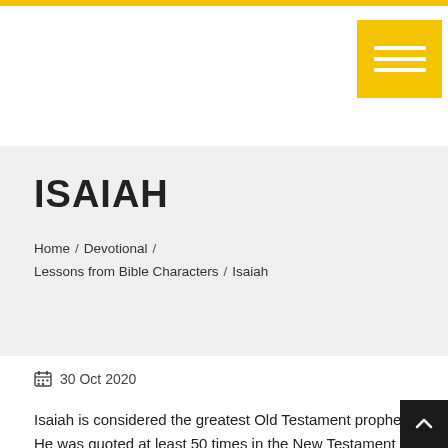ISAIAH
Home / Devotional / Lessons from Bible Characters / Isaiah
30 Oct 2020
Isaiah is considered the greatest Old Testament prophet. He was quoted at least 50 times in the New Testament and his ministry spanned the